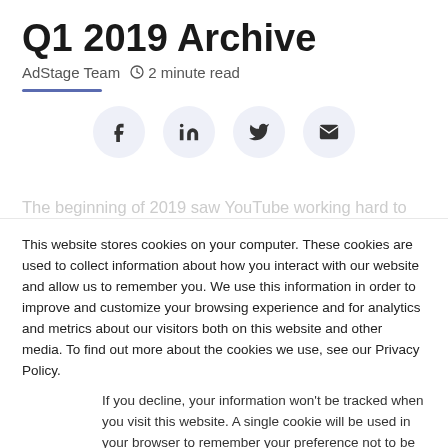Q1 2019 Archive
AdStage Team  🕐 2 minute read
[Figure (infographic): Social share icons in circular buttons: Facebook, LinkedIn, Twitter, Email]
The beginning of 2019 saw YouTube working hard to
This website stores cookies on your computer. These cookies are used to collect information about how you interact with our website and allow us to remember you. We use this information in order to improve and customize your browsing experience and for analytics and metrics about our visitors both on this website and other media. To find out more about the cookies we use, see our Privacy Policy.
If you decline, your information won't be tracked when you visit this website. A single cookie will be used in your browser to remember your preference not to be tracked.
Accept   Decline